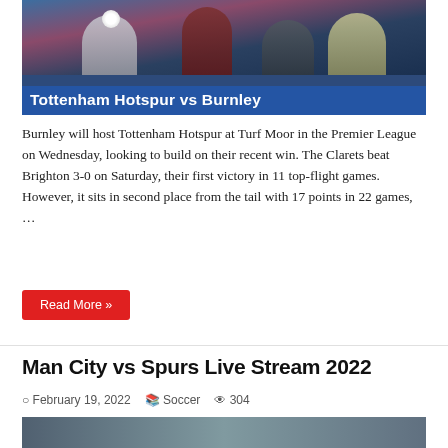[Figure (photo): Soccer match photo for Tottenham Hotspur vs Burnley with blue banner overlay reading 'Tottenham Hotspur vs Burnley']
Burnley will host Tottenham Hotspur at Turf Moor in the Premier League on Wednesday, looking to build on their recent win. The Clarets beat Brighton 3-0 on Saturday, their first victory in 11 top-flight games. However, it sits in second place from the tail with 17 points in 22 games, …
Read More »
Man City vs Spurs Live Stream 2022
February 19, 2022  Soccer  304
[Figure (photo): Soccer match photo with LIVE Stream Online badge, showing players including one wearing number 14 and one in AIA (Tottenham) kit]